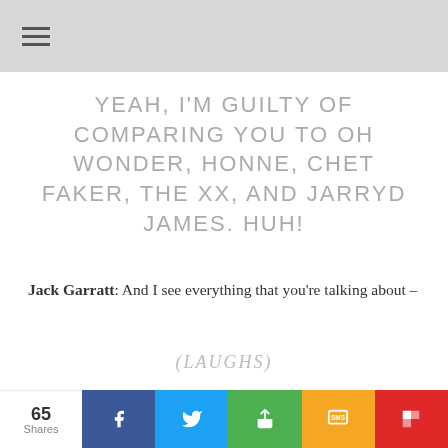YEAH, I'M GUILTY OF COMPARING YOU TO OH WONDER, HONNE, CHET FAKER, THE XX, AND JARRYD JAMES. HUH!
Jack Garratt: And I see everything that you're talking about –
(LAUGHS)
Jack Garratt: but I would also say you're totally
65 Shares